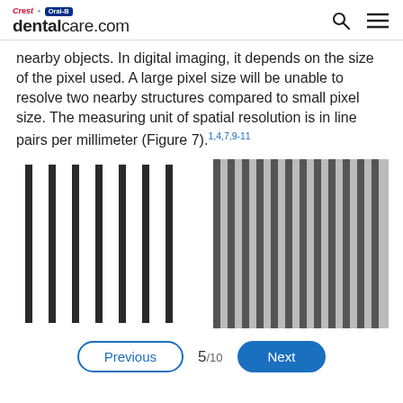Crest + Oral-B dentalcare.com
nearby objects. In digital imaging, it depends on the size of the pixel used. A large pixel size will be unable to resolve two nearby structures compared to small pixel size. The measuring unit of spatial resolution is in line pairs per millimeter (Figure 7).1,4,7,9-11
[Figure (illustration): Two illustrated panels showing line pairs representing spatial resolution. Left panel: sparse, wide-spaced vertical black lines on white background representing low spatial resolution (fewer line pairs per mm). Right panel: dense, closely-spaced vertical lines (alternating dark gray and light gray) representing high spatial resolution (more line pairs per mm).]
Previous  5/10  Next